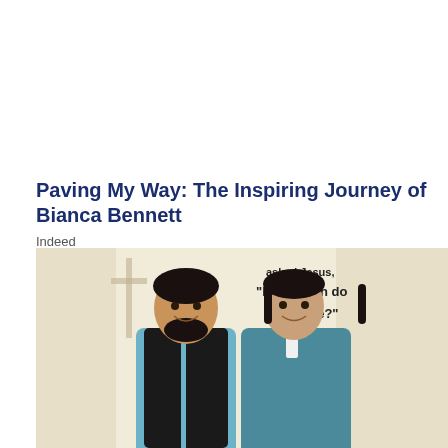Paving My Way: The Inspiring Journey of Bianca Bennett
Indeed
[Figure (photo): A man and a woman standing together in front of a white banner. The man on the left has short dark hair with a bowl cut and a beard, wearing a black vest over a light blue shirt. The woman on the right has dark hair pulled back, wearing a teal/blue long-sleeve dress with a white collar tie. Behind them is a hand-lettered sign reading: '...I asked Jesus, How much do love me? He stretched His arms ... died.']